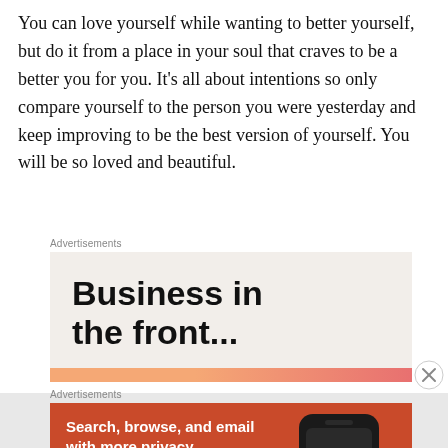You can love yourself while wanting to better yourself, but do it from a place in your soul that craves to be a better you for you. It's all about intentions so only compare yourself to the person you were yesterday and keep improving to be the best version of yourself. You will be so loved and beautiful.
Advertisements
[Figure (illustration): Advertisement banner with light beige background showing text 'Business in the front...' in large bold black font, with a decorative orange-pink gradient bar at the bottom.]
[Figure (illustration): Close button (X in circle) for dismissing ad]
Advertisements
[Figure (illustration): DuckDuckGo advertisement on orange-red background. Left side text: 'Search, browse, and email with more privacy. All in One Free App' button. Right side shows a phone with DuckDuckGo logo and 'DuckDuckGo.' label.]